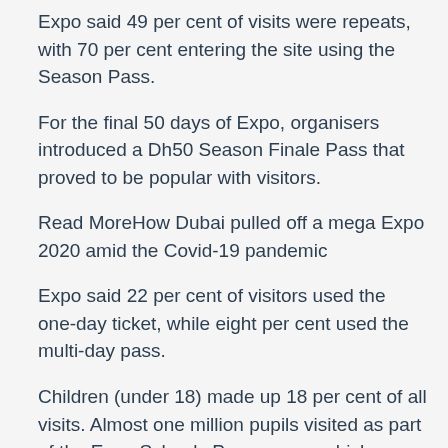Expo said 49 per cent of visits were repeats, with 70 per cent entering the site using the Season Pass.
For the final 50 days of Expo, organisers introduced a Dh50 Season Finale Pass that proved to be popular with visitors.
Read MoreHow Dubai pulled off a mega Expo 2020 amid the Covid-19 pandemic
Expo said 22 per cent of visitors used the one-day ticket, while eight per cent used the multi-day pass.
Children (under 18) made up 18 per cent of all visits. Almost one million pupils visited as part of the Expo Schools Programme, which was